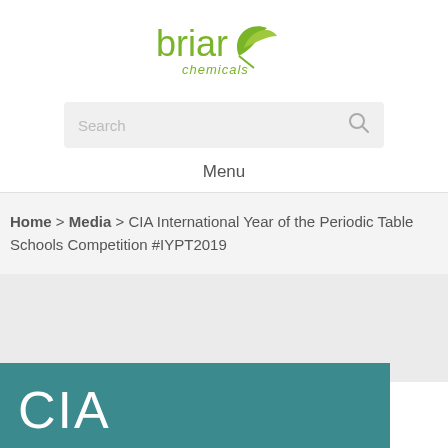[Figure (logo): Briar Chemicals logo — stylized green 'briar' text with a leaf graphic, and 'chemicals' in smaller text below]
[Figure (screenshot): Search bar with placeholder text 'Search' and a magnifying glass icon]
Menu
Home > Media > CIA International Year of the Periodic Table Schools Competition #IYPT2019
CIA